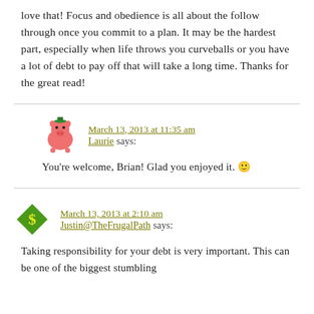love that! Focus and obedience is all about the follow through once you commit to a plan. It may be the hardest part, especially when life throws you curveballs or you have a lot of debt to pay off that will take a long time. Thanks for the great read!
March 13, 2013 at 11:35 am
Laurie says:
You're welcome, Brian! Glad you enjoyed it. 🙂
March 13, 2013 at 2:10 am
Justin@TheFrugalPath says:
Taking responsibility for your debt is very important. This can be one of the biggest stumbling